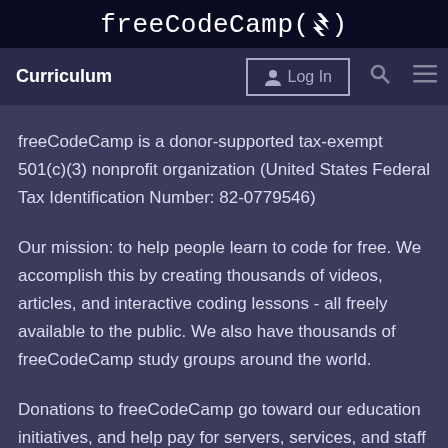freeCodeCamp(🔥)
Curriculum  Log In
freeCodeCamp is a donor-supported tax-exempt 501(c)(3) nonprofit organization (United States Federal Tax Identification Number: 82-0779546)
Our mission: to help people learn to code for free. We accomplish this by creating thousands of videos, articles, and interactive coding lessons - all freely available to the public. We also have thousands of freeCodeCamp study groups around the world.
Donations to freeCodeCamp go toward our education initiatives, and help pay for servers, services, and staff